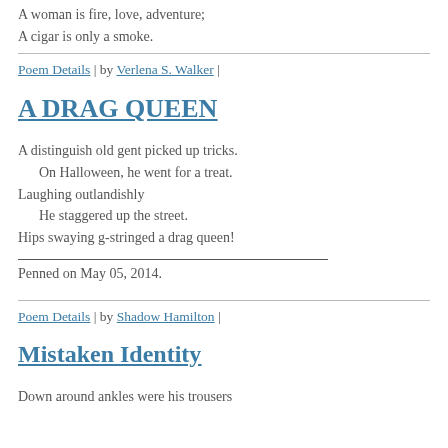A woman is fire, love, adventure;
A cigar is only a smoke.
Poem Details | by Verlena S. Walker |
A DRAG QUEEN
A distinguish old gent picked up tricks.
    On Halloween, he went for a treat.
Laughing outlandishly
    He staggered up the street.
Hips swaying g-stringed a drag queen!
Penned on May 05, 2014.
Poem Details | by Shadow Hamilton |
Mistaken Identity
Down around ankles were his trousers